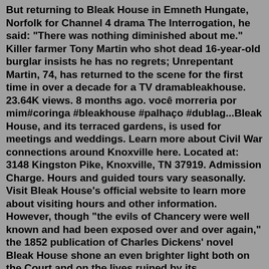But returning to Bleak House in Emneth Hungate, Norfolk for Channel 4 drama The Interrogation, he said: "There was nothing diminished about me." Killer farmer Tony Martin who shot dead 16-year-old burglar insists he has no regrets; Unrepentant Martin, 74, has returned to the scene for the first time in over a decade for a TV dramableakhouse. 23.64K views. 8 months ago. você morreria por mim#coringa #bleakhouse #palhaço #dublag...Bleak House, and its terraced gardens, is used for meetings and weddings. Learn more about Civil War connections around Knoxville here. Located at: 3148 Kingston Pike, Knoxville, TN 37919. Admission Charge. Hours and guided tours vary seasonally. Visit Bleak House's official website to learn more about visiting hours and other information. However, though "the evils of Chancery were well known and had been exposed over and over again," the 1852 publication of Charles Dickens' novel Bleak House shone an even brighter light both on the Court and on the lives ruined by its